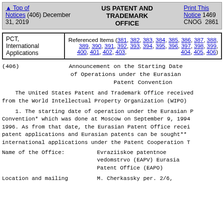Top of Notices (406) December 31, 2019 | US PATENT AND TRADEMARK OFFICE | Print This Notice 1469 CNOG 2861
| PCT, International Applications | Referenced Items |
| --- | --- |
| PCT,
International
Applications | Referenced Items (381, 382, 383, 384, 385, 386, 387, 388, 389, 390, 391, 392, 393, 394, 395, 396, 397, 398, 399, 400, 401, 402, 403, 404, 405, 406) |
(406)   Announcement on the Starting Date of Operations under the Eurasian Patent Convention
The United States Patent and Trademark Office received from the World Intellectual Property Organization (WIPO)
1. The starting date of operation under the Eurasian P Convention* which was done at Moscow on September 9, 1994 1996. As from that date, the Eurasian Patent Office recei patent applications and Eurasian patents can be sought** international applications under the Patent Cooperation T
Name of the Office:   Evraziiskoe patentnoe vedomstrvo (EAPV) Eurasia Patent Office (EAPO)
Location and mailing   M. Cherkassky per. 2/6,